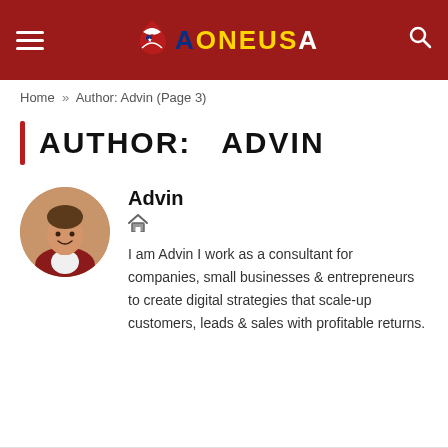AONEUSA
Home » Author: Advin (Page 3)
AUTHOR:  ADVIN
Advin
[Figure (photo): Circular profile photo of a young man in a red plaid shirt smiling with thumbs up, on a beige/tan background]
I am Advin I work as a consultant for companies, small businesses & entrepreneurs to create digital strategies that scale-up customers, leads & sales with profitable returns.